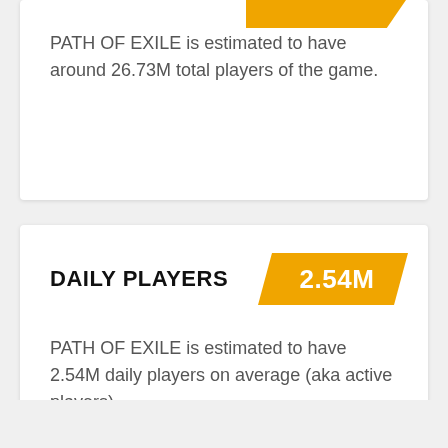PATH OF EXILE is estimated to have around 26.73M total players of the game.
DAILY PLAYERS
2.54M
PATH OF EXILE is estimated to have 2.54M daily players on average (aka active players).